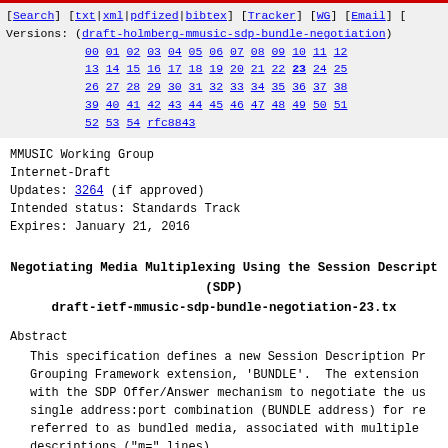[Search] [txt|xml|pdfized|bibtex] [Tracker] [WG] [Email] Versions: (draft-holmberg-mmusic-sdp-bundle-negotiation) 00 01 02 03 04 05 06 07 08 09 10 11 12 13 14 15 16 17 18 19 20 21 22 23 24 25 26 27 28 29 30 31 32 33 34 35 36 37 38 39 40 41 42 43 44 45 46 47 48 49 50 51 52 53 54 rfc8843
MMUSIC Working Group
Internet-Draft
Updates: 3264 (if approved)
Intended status: Standards Track
Expires: January 21, 2016
Negotiating Media Multiplexing Using the Session Description Protocol (SDP)
draft-ietf-mmusic-sdp-bundle-negotiation-23.txt
Abstract
This specification defines a new Session Description Protocol (SDP) Grouping Framework extension, 'BUNDLE'. The extension can be used with the SDP Offer/Answer mechanism to negotiate the use of a single address:port combination (BUNDLE address) for receiving media, referred to as bundled media, associated with multiple SDP media descriptions ("m=" lines).